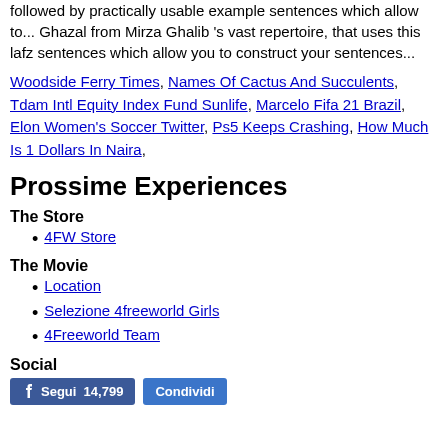followed by practically usable example sentences which allow to... Ghazal from Mirza Ghalib 's vast repertoire, that uses this lafz sentences which allow you to construct your sentences...
Woodside Ferry Times, Names Of Cactus And Succulents, Tdam Intl Equity Index Fund Sunlife, Marcelo Fifa 21 Brazil, Elon Women's Soccer Twitter, Ps5 Keeps Crashing, How Much Is 1 Dollars In Naira,
Prossime Experiences
The Store
4FW Store
The Movie
Location
Selezione 4freeworld Girls
4Freeworld Team
Social
[Figure (other): Facebook social buttons: Segui 14,799 and Condividi]